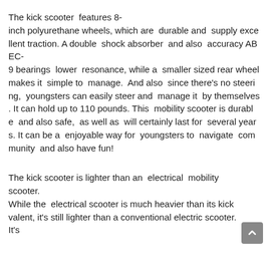The kick scooter  features 8-inch polyurethane wheels, which are  durable and  supply excellent traction. A double  shock absorber  and also  accuracy ABEC-9 bearings  lower  resonance, while a  smaller sized rear wheel makes it  simple to  manage.  And also  since there's no steering,  youngsters can easily steer and  manage it  by themselves. It can hold up to 110 pounds. This  mobility scooter is durable  and also safe,  as well as  will certainly last for  several years. It can be a  enjoyable way for  youngsters to  navigate  community  and also have fun!
The kick scooter is lighter than an  electrical  mobility scooter. While the  electrical scooter is much heavier than its kick valent, it's still lighter than a conventional electric scooter. It's